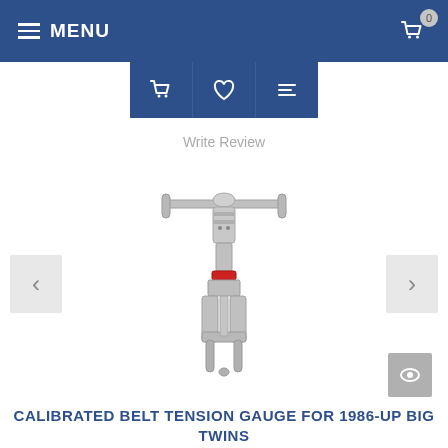MENU  0
[Figure (screenshot): Action icon buttons bar: shopping basket, heart/wishlist, and list/compare icons on dark blue background]
Write Review
[Figure (photo): A calibrated belt tension gauge tool - silver/chrome metal tool with a T-bar handle on top, cylindrical body with knurled sections, a red ring near the base, and a C-clamp style jaw at the bottom with two pins]
CALIBRATED BELT TENSION GAUGE FOR 1986-UP BIG TWINS & XL